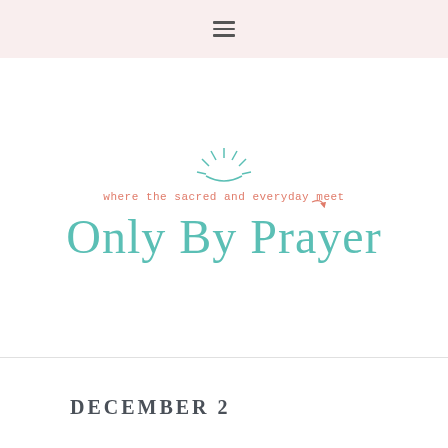≡
[Figure (logo): Only By Prayer blog logo with tagline 'where the sacred and everyday meet', teal/turquoise script with sunburst rays icon and coral tagline text]
DECEMBER 2